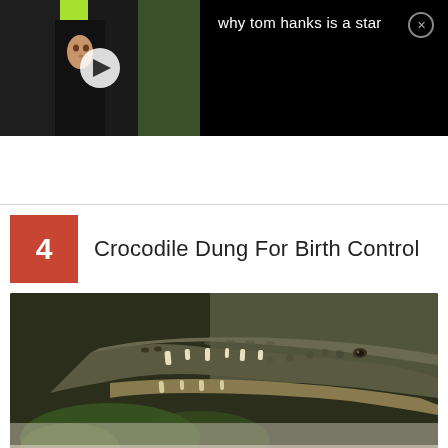[Figure (screenshot): Video advertisement block. Left side shows a woman's face partially visible among dark curtains on a green background. Right side shows black background with text 'why tom hanks is a star' and a close/X button.]
why tom hanks is a star
4
Crocodile Dung For Birth Control
[Figure (photo): Close-up photograph of a crocodile's head showing its open jaws with large teeth, scaly textured skin, and blurred green foliage in the background.]